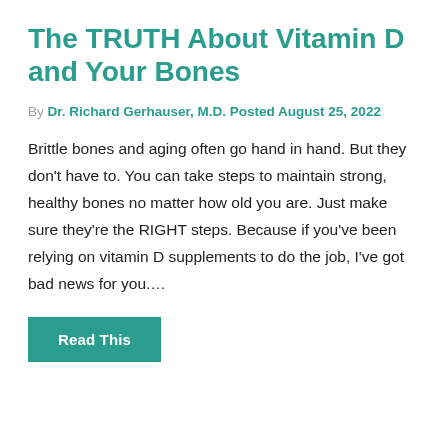The TRUTH About Vitamin D and Your Bones
By Dr. Richard Gerhauser, M.D. Posted August 25, 2022
Brittle bones and aging often go hand in hand. But they don't have to. You can take steps to maintain strong, healthy bones no matter how old you are. Just make sure they're the RIGHT steps. Because if you've been relying on vitamin D supplements to do the job, I've got bad news for you….
Read This